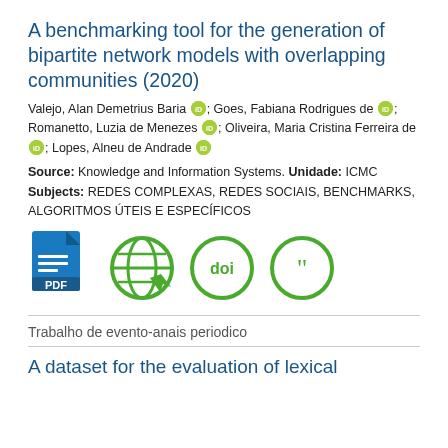A benchmarking tool for the generation of bipartite network models with overlapping communities (2020)
Valejo, Alan Demetrius Baria [orcid]; Goes, Fabiana Rodrigues de [orcid]; Romanetto, Luzia de Menezes [orcid]; Oliveira, Maria Cristina Ferreira de [orcid]; Lopes, Alneu de Andrade [orcid]
Source: Knowledge and Information Systems. Unidade: ICMC
Subjects: REDES COMPLEXAS, REDES SOCIAIS, BENCHMARKS, ALGORITMOS ÚTEIS E ESPECÍFICOS
[Figure (other): Row of four icons: PDF document icon, globe/web icon, DOI icon, citation quotes icon]
Trabalho de evento-anais periodico
A dataset for the evaluation of lexical